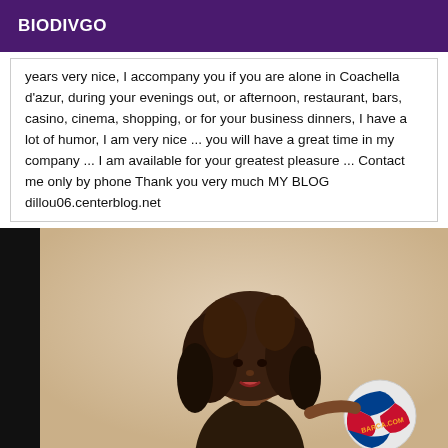BIODIVGO
years very nice, I accompany you if you are alone in Coachella d'azur, during your evenings out, or afternoon, restaurant, bars, casino, cinema, shopping, or for your business dinners, I have a lot of humor, I am very nice ... you will have a great time in my company ... I am available for your greatest pleasure ... Contact me only by phone Thank you very much MY BLOG dillou06.centerblog.net
[Figure (photo): A woman with long curly hair smiling, holding a Barcelona football club soccer ball, wearing a dark outfit, light background]